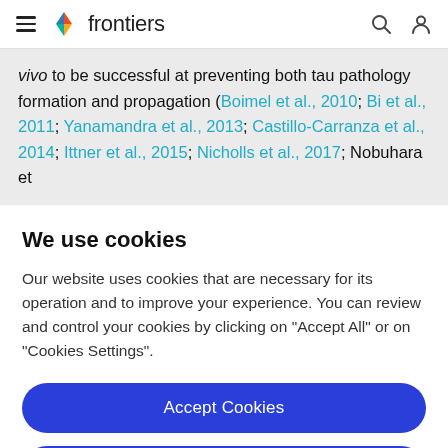frontiers
vivo to be successful at preventing both tau pathology formation and propagation (Boimel et al., 2010; Bi et al., 2011; Yanamandra et al., 2013; Castillo-Carranza et al., 2014; Ittner et al., 2015; Nicholls et al., 2017; Nobuhara et
We use cookies
Our website uses cookies that are necessary for its operation and to improve your experience. You can review and control your cookies by clicking on "Accept All" or on "Cookies Settings".
Accept Cookies
Cookies Settings